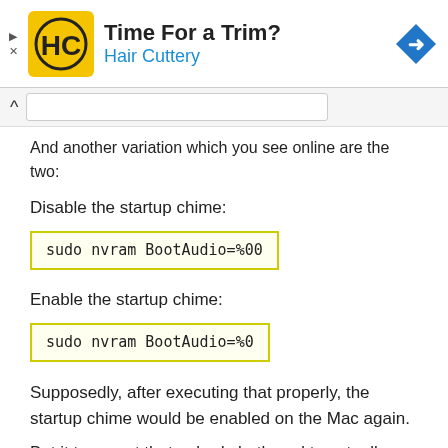[Figure (other): Advertisement banner for Hair Cuttery with logo, title 'Time For a Trim?', subtitle 'Hair Cuttery', and a navigation arrow icon]
And another variation which you see online are the two:
Disable the startup chime:
sudo nvram BootAudio=%00
Enable the startup chime:
sudo nvram BootAudio=%0
Supposedly, after executing that properly, the startup chime would be enabled on the Mac again.
But it turns out that nobody bothered to actually test this out, because it does not work.